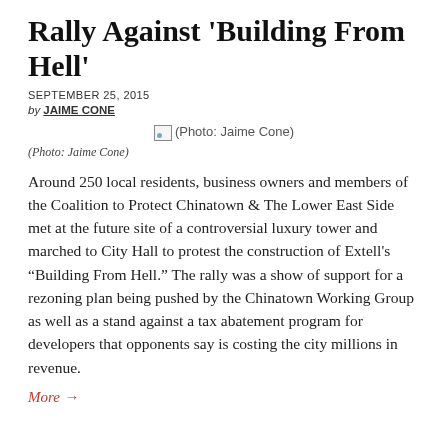Rally Against ‘Building From Hell’
SEPTEMBER 25, 2015
BY JAIME CONE
[Figure (photo): Broken image placeholder with caption (Photo: Jaime Cone)]
(Photo: Jaime Cone)
Around 250 local residents, business owners and members of the Coalition to Protect Chinatown & The Lower East Side met at the future site of a controversial luxury tower and marched to City Hall to protest the construction of Extell’s “Building From Hell.” The rally was a show of support for a rezoning plan being pushed by the Chinatown Working Group as well as a stand against a tax abatement program for developers that opponents say is costing the city millions in revenue.
More →